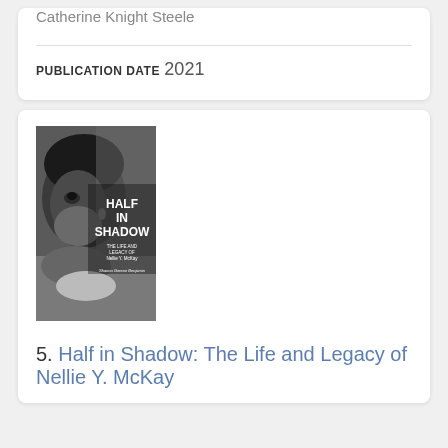Catherine Knight Steele
PUBLICATION DATE
2021
[Figure (photo): Book cover of 'Half in Shadow: The Life and Legacy of Nellie Y. McKay' showing a black and white portrait of a woman, with bold white title text overlay.]
5. Half in Shadow: The Life and Legacy of Nellie Y. McKay